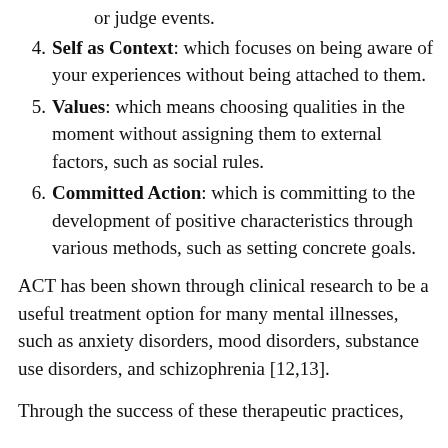or judge events.
Self as Context: which focuses on being aware of your experiences without being attached to them.
Values: which means choosing qualities in the moment without assigning them to external factors, such as social rules.
Committed Action: which is committing to the development of positive characteristics through various methods, such as setting concrete goals.
ACT has been shown through clinical research to be a useful treatment option for many mental illnesses, such as anxiety disorders, mood disorders, substance use disorders, and schizophrenia [12,13].
Through the success of these therapeutic practices,